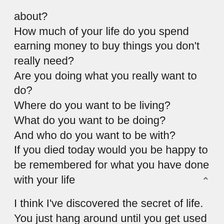about? How much of your life do you spend earning money to buy things you don't really need? Are you doing what you really want to do? Where do you want to be living? What do you want to be doing? And who do you want to be with? If you died today would you be happy to be remembered for what you have done with your life
I think I've discovered the secret of life. You just hang around until you get used to it. ( Charles M. Schulz )
Life has become immeasurably better since have been forced to stop taking it seriously